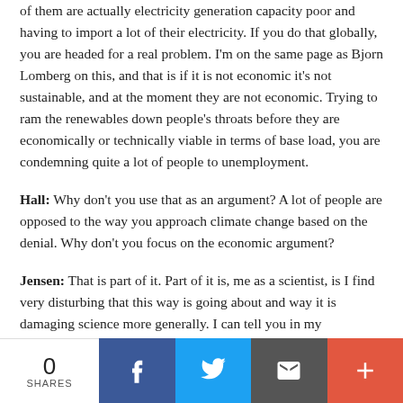of them are actually electricity generation capacity poor and having to import a lot of their electricity. If you do that globally, you are headed for a real problem. I'm on the same page as Bjorn Lomberg on this, and that is if it is not economic it's not sustainable, and at the moment they are not economic. Trying to ram the renewables down people's throats before they are economically or technically viable in terms of base load, you are condemning quite a lot of people to unemployment.
Hall: Why don't you use that as an argument? A lot of people are opposed to the way you approach climate change based on the denial. Why don't you focus on the economic argument?
Jensen: That is part of it. Part of it is, me as a scientist, is I find very disturbing that this way is going about and way it is damaging science more generally. I can tell you in my
0 SHARES